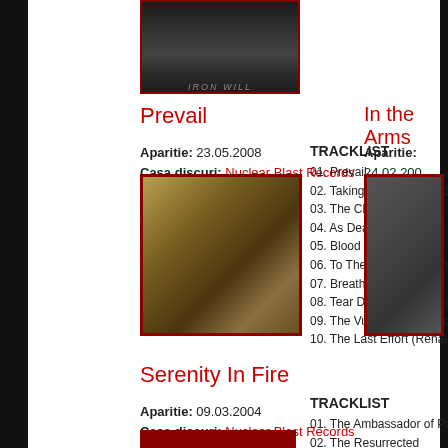[Figure (photo): Partial album cover at top, dark atmospheric artwork with text 'IRON WILL']
Prevail
Aparitie: 23.05.2008
Casa discuri: Nuclear Blast Records
[Figure (photo): Kataklysm Prevail album cover - fantasy/dark art with warrior figure]
TRACKLIST
01. Prevail
02. Taking The World By Storm
03. The Chains of Power
04. As Death Lingers
05. Blood In Heaven
06. To The Throne Of Sorrow
07. Breathe To Dominate
08. Tear Down The Kingdom
09. The Vultures Are Watching
10. The Last Effort (Renaissance II)
In the Arms
Aparitie: 24.02.200...
Casa discuri: Nuclear Blast Records
[Figure (photo): Kataklysm In the Arms of Devastation partial album cover]
Serenity In Fire
Aparitie: 09.03.2004
Casa discuri: Nuclear Blast Records
TRACKLIST
01. The Ambassador of Pain
02. The Resurrected